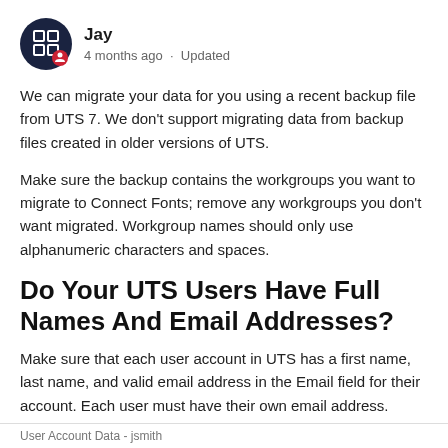Jay · 4 months ago · Updated
We can migrate your data for you using a recent backup file from UTS 7. We don't support migrating data from backup files created in older versions of UTS.
Make sure the backup contains the workgroups you want to migrate to Connect Fonts; remove any workgroups you don't want migrated. Workgroup names should only use alphanumeric characters and spaces.
Do Your UTS Users Have Full Names And Email Addresses?
Make sure that each user account in UTS has a first name, last name, and valid email address in the Email field for their account. Each user must have their own email address.
User Account Data - jsmith